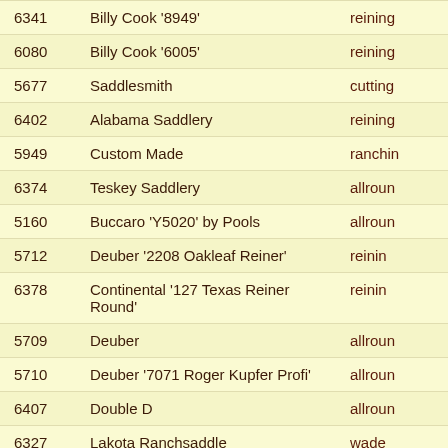| ID | Maker/Model | Type |
| --- | --- | --- |
| 6341 | Billy Cook '8949' | reining |
| 6080 | Billy Cook '6005' | reining |
| 5677 | Saddlesmith | cutting |
| 6402 | Alabama Saddlery | reining |
| 5949 | Custom Made | ranching |
| 6374 | Teskey Saddlery | allround |
| 5160 | Buccaro 'Y5020' by Pools | allround |
| 5712 | Deuber '2208 Oakleaf Reiner' | reining |
| 6378 | Continental '127 Texas Reiner Round' | reining |
| 5709 | Deuber | allround |
| 5710 | Deuber '7071 Roger Kupfer Profi' | allround |
| 6407 | Double D | allround |
| 6327 | Lakota Ranchsaddle | wade |
| 6342 | Lukas Hodjamont | allround |